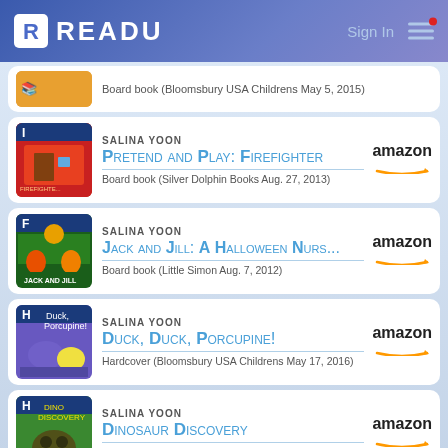READU — Sign In
Board book (Bloomsbury USA Childrens May 5, 2015)
SALINA YOON
Pretend and Play: Firefighter
Board book (Silver Dolphin Books Aug. 27, 2013)
SALINA YOON
Jack and Jill: A Halloween Nurs...
Board book (Little Simon Aug. 7, 2012)
SALINA YOON
Duck, Duck, Porcupine!
Hardcover (Bloomsbury USA Childrens May 17, 2016)
SALINA YOON
Dinosaur Discovery
Board book (Sterling Children's Books April 4, 2017)
SALINA YOON